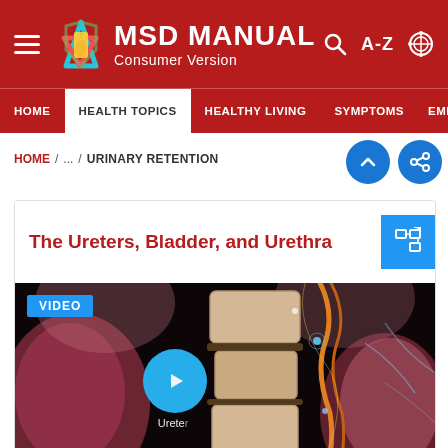MSD MANUAL Consumer Version
HOME / ... / URINARY RETENTION
The Ureters, Bladder, and Urethra
[Figure (screenshot): Medical 3D animation video thumbnail showing vertebral column, ureters, and surrounding anatomy with a play button overlay and 'Ureter' label. Blue 'VIDEO' badge in top left corner.]